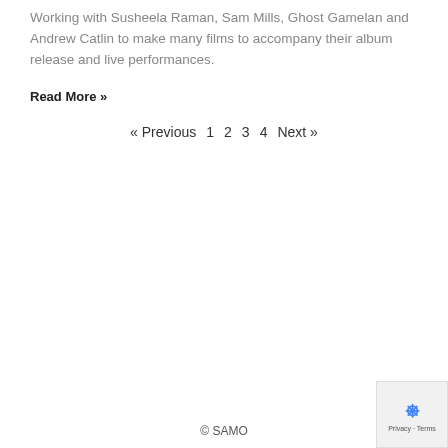Working with Susheela Raman, Sam Mills, Ghost Gamelan and Andrew Catlin to make many films to accompany their album release and live performances.
Read More »
« Previous  1  2  3  4  Next »
© SAMO